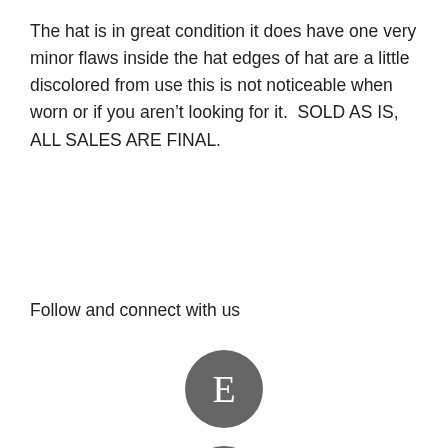The hat is in great condition it does have one very minor flaws inside the hat edges of hat are a little discolored from use this is not noticeable when worn or if you aren't looking for it.  SOLD AS IS, ALL SALES ARE FINAL.
Follow and connect with us
[Figure (illustration): Four social media icons arranged vertically centered: Etsy (E), Facebook (f), Google+ (g+), and Instagram (camera icon), all as dark gray circles with white symbols.]